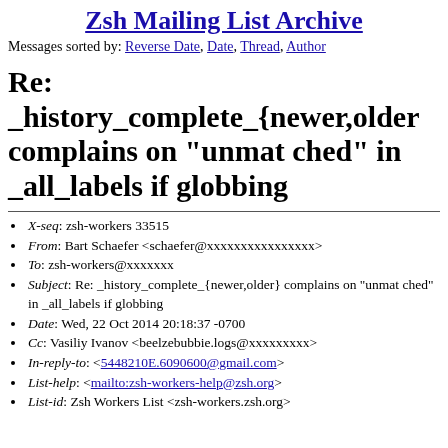Zsh Mailing List Archive
Messages sorted by: Reverse Date, Date, Thread, Author
Re: _history_complete_{newer,older} complains on "unmat ched" in _all_labels if globbing
X-seq: zsh-workers 33515
From: Bart Schaefer <schaefer@xxxxxxxxxxxxxxxx>
To: zsh-workers@xxxxxxx
Subject: Re: _history_complete_{newer,older} complains on "unmat ched" in _all_labels if globbing
Date: Wed, 22 Oct 2014 20:18:37 -0700
Cc: Vasiliy Ivanov <beelzebubbie.logs@xxxxxxxxx>
In-reply-to: <5448210E.6090600@gmail.com>
List-help: <mailto:zsh-workers-help@zsh.org>
List-id: Zsh Workers List <zsh-workers.zsh.org>